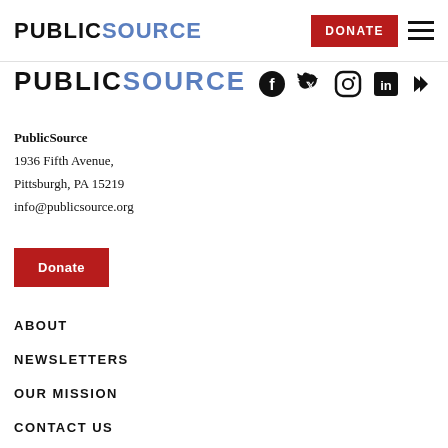PUBLICSOURCE — DONATE (button) — menu (hamburger)
[Figure (logo): PublicSource logo in footer area, large bold text PUBLIC in black and SOURCE in blue]
[Figure (other): Social media icons: Facebook, Twitter, Instagram, LinkedIn, RSS]
PublicSource
1936 Fifth Avenue,
Pittsburgh, PA 15219
info@publicsource.org
Donate
ABOUT
NEWSLETTERS
OUR MISSION
CONTACT US